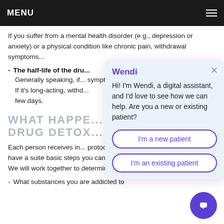MENU
If you suffer from a mental health disorder (e.g., depression or anxiety) or a physical condition like chronic pain, withdrawal symptoms...
The half-life of the drug — Generally speaking, if... symptoms will occur m... If it's long-acting, withd... few days.
WHAT HAPPE... DRUG DETOX...
Each person receives in... protocols at Alpine Reco... Lodge, but we have a suite basic steps you can expect during the initial evaluation. We will work together to determine:
What substances you are addicted to
[Figure (screenshot): Chat widget overlay with 'Wendi' digital assistant introducing herself and offering 'I'm a new patient' and 'I'm an existing patient' buttons]